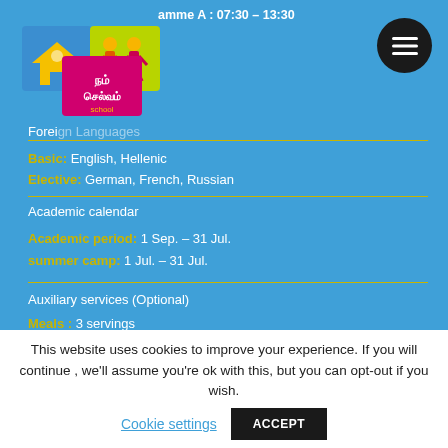amme A : 07:30 – 13:30
[Figure (logo): School logo with house and children cartoon figures, colorful blocks]
Foreign Languages
Basic: English, Hellenic
Elective: German, French, Russian
Academic calendar
Academic period: 1 Sep. – 31 Jul.
summer camp: 1 Jul. – 31 Jul.
Auxiliary services (Optional)
Meals : 3 servings
Transport : Owned school buses
[Figure (illustration): Red circle Swiss cross flag button]
[Figure (illustration): UK Union Jack flag circle button]
This website uses cookies to improve your experience. If you will continue , we'll assume you're ok with this, but you can opt-out if you wish.
Cookie settings
ACCEPT